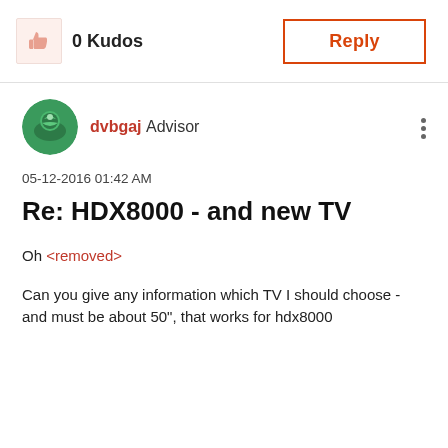[Figure (illustration): Thumbs up icon in a light orange box]
0 Kudos
Reply
[Figure (illustration): User avatar: green circular profile picture of dvbgaj]
dvbgaj Advisor
05-12-2016 01:42 AM
Re: HDX8000 - and new TV
Oh <removed>
Can you give any information which TV I should choose - and must be about 50", that works for hdx8000